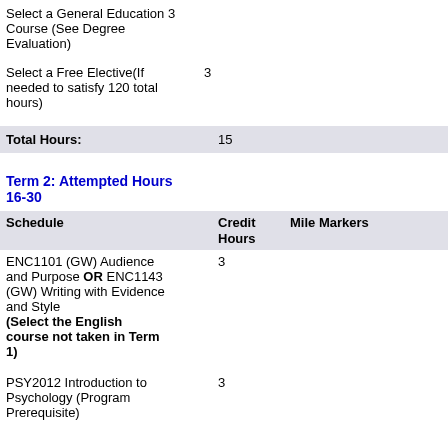Select a General Education 3 Course (See Degree Evaluation)
Select a Free Elective(If needed to satisfy 120 total hours)  3
| Total Hours: | 15 |
Term 2: Attempted Hours 16-30
| Schedule | Credit Hours | Mile Markers |
| --- | --- | --- |
| ENC1101 (GW) Audience and Purpose OR ENC1143 (GW) Writing with Evidence and Style
(Select the English course not taken in Term 1) | 3 |  |
| PSY2012 Introduction to Psychology (Program Prerequisite) | 3 |  |